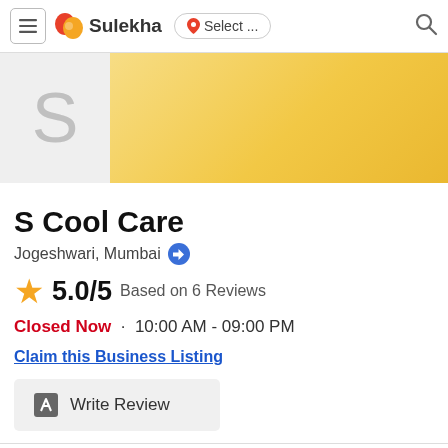Sulekha | Select ... [search]
[Figure (screenshot): Business profile banner with large 'S' placeholder logo on gray background and golden/yellow gradient banner area]
S Cool Care
Jogeshwari, Mumbai
5.0/5 Based on 6 Reviews
Closed Now · 10:00 AM - 09:00 PM
Claim this Business Listing
Write Review
Request Quote